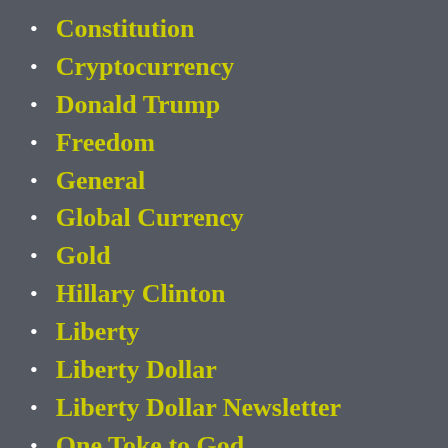Constitution
Cryptocurrency
Donald Trump
Freedom
General
Global Currency
Gold
Hillary Clinton
Liberty
Liberty Dollar
Liberty Dollar Newsletter
One Toke to God
PorcFest
Real Money
Silver
Socialism